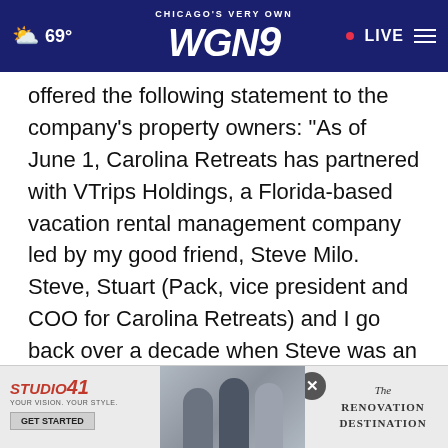CHICAGO'S VERY OWN WGN9 69° LIVE
offered the following statement to the company's property owners: "As of June 1, Carolina Retreats has partnered with VTrips Holdings, a Florida-based vacation rental management company led by my good friend, Steve Milo. Steve, Stuart (Pack, vice president and COO for Carolina Retreats) and I go back over a decade when Steve was an early mentor of mine as I was getting started in the vacation renta[l...] the boar[d...]
[Figure (screenshot): Advertisement overlay at the bottom of the screen showing Studio 41 ad with 'GET STARTED' button and 'The Renovation Destination' text, with a close (X) button]